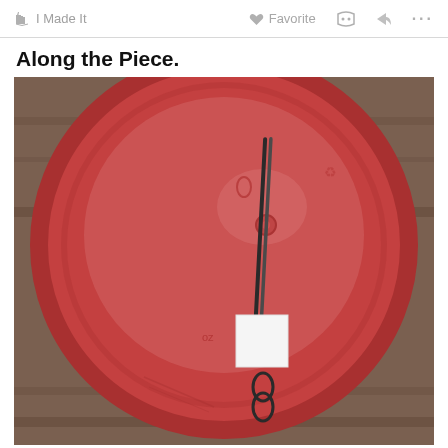I Made It   Favorite   ...
Along the Piece.
[Figure (photo): Top-down view of a round red plastic lid or container, with a pair of scissors or a thin tool placed vertically across the center, and a small white square piece of material underneath the tool.]